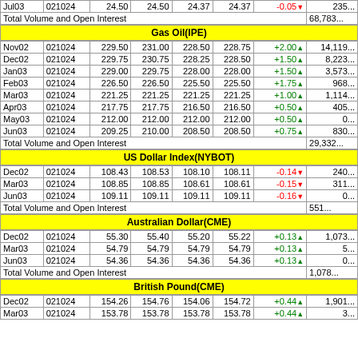| Month | Date | Open | High | Low | Close | Chg | Vol/OI |
| --- | --- | --- | --- | --- | --- | --- | --- |
| Jul03 | 021024 | 24.50 | 24.50 | 24.37 | 24.37 | -0.05↓ | 235... |
| Total Volume and Open Interest |  |  |  |  |  |  | 68,783... |
Gas Oil(IPE)
| Month | Date | Open | High | Low | Close | Chg | Vol/OI |
| --- | --- | --- | --- | --- | --- | --- | --- |
| Nov02 | 021024 | 229.50 | 231.00 | 228.50 | 228.75 | +2.00↑ | 14,119... |
| Dec02 | 021024 | 229.75 | 230.75 | 228.25 | 228.50 | +1.50↑ | 8,223... |
| Jan03 | 021024 | 229.00 | 229.75 | 228.00 | 228.00 | +1.50↑ | 3,573... |
| Feb03 | 021024 | 226.50 | 226.50 | 225.50 | 225.50 | +1.75↑ | 968... |
| Mar03 | 021024 | 221.25 | 221.25 | 221.25 | 221.25 | +1.00↑ | 1,114... |
| Apr03 | 021024 | 217.75 | 217.75 | 216.50 | 216.50 | +0.50↑ | 405... |
| May03 | 021024 | 212.00 | 212.00 | 212.00 | 212.00 | +0.50↑ | 0... |
| Jun03 | 021024 | 209.25 | 210.00 | 208.50 | 208.50 | +0.75↑ | 830... |
| Total Volume and Open Interest |  |  |  |  |  |  | 29,332... |
US Dollar Index(NYBOT)
| Month | Date | Open | High | Low | Close | Chg | Vol/OI |
| --- | --- | --- | --- | --- | --- | --- | --- |
| Dec02 | 021024 | 108.43 | 108.53 | 108.10 | 108.11 | -0.14↓ | 240... |
| Mar03 | 021024 | 108.85 | 108.85 | 108.61 | 108.61 | -0.15↓ | 311... |
| Jun03 | 021024 | 109.11 | 109.11 | 109.11 | 109.11 | -0.16↓ | 0... |
| Total Volume and Open Interest |  |  |  |  |  |  | 551... |
Australian Dollar(CME)
| Month | Date | Open | High | Low | Close | Chg | Vol/OI |
| --- | --- | --- | --- | --- | --- | --- | --- |
| Dec02 | 021024 | 55.30 | 55.40 | 55.20 | 55.22 | +0.13↑ | 1,073... |
| Mar03 | 021024 | 54.79 | 54.79 | 54.79 | 54.79 | +0.13↑ | 5... |
| Jun03 | 021024 | 54.36 | 54.36 | 54.36 | 54.36 | +0.13↑ | 0... |
| Total Volume and Open Interest |  |  |  |  |  |  | 1,078... |
British Pound(CME)
| Month | Date | Open | High | Low | Close | Chg | Vol/OI |
| --- | --- | --- | --- | --- | --- | --- | --- |
| Dec02 | 021024 | 154.26 | 154.76 | 154.06 | 154.72 | +0.44↑ | 1,901... |
| Mar03 | 021024 | 153.78 | 153.78 | 153.78 | 153.78 | +0.44↑ | 3... |